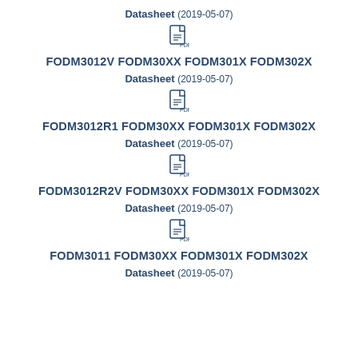Datasheet (2019-05-07)
[Figure (other): PDF file icon]
FODM3012V FODM30XX FODM301X FODM302X
Datasheet (2019-05-07)
[Figure (other): PDF file icon]
FODM3012R1 FODM30XX FODM301X FODM302X
Datasheet (2019-05-07)
[Figure (other): PDF file icon]
FODM3012R2V FODM30XX FODM301X FODM302X
Datasheet (2019-05-07)
[Figure (other): PDF file icon]
FODM3011 FODM30XX FODM301X FODM302X
Datasheet (2019-05-07)